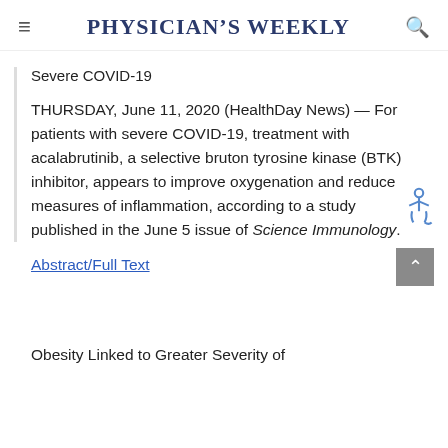Physician's Weekly
Severe COVID-19
THURSDAY, June 11, 2020 (HealthDay News) — For patients with severe COVID-19, treatment with acalabrutinib, a selective bruton tyrosine kinase (BTK) inhibitor, appears to improve oxygenation and reduce measures of inflammation, according to a study published in the June 5 issue of Science Immunology.
Abstract/Full Text
Obesity Linked to Greater Severity of